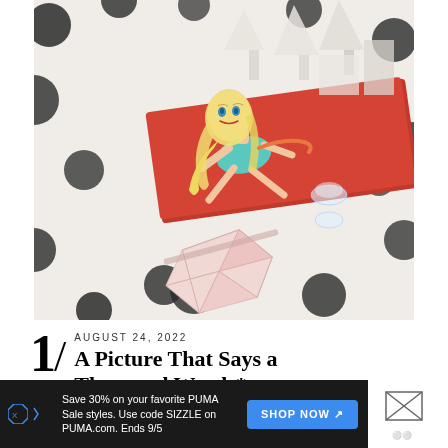[Figure (photo): A Barbie doll with blonde hair lying on a red/orange surface on a black-and-white polka dot rug, next to a pink geometric compact and clear glass accessories]
1/
AUGUST 24, 2022
A Picture That Says a Thousand Words*
Save 30% on your favorite PUMA Sale styles. Use code SIZZLE on PUMA.com. Ends 9/5
SHOP NOW